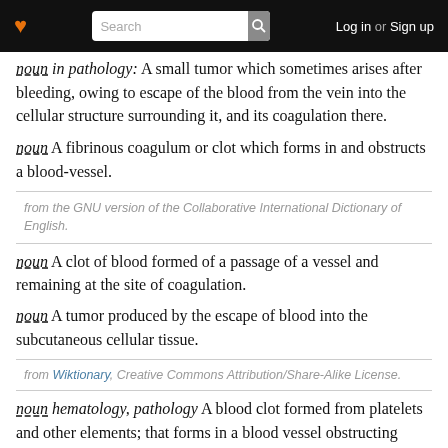Search | Log in or Sign up
noun in pathology: A small tumor which sometimes arises after bleeding, owing to escape of the blood from the vein into the cellular structure surrounding it, and its coagulation there.
noun A fibrinous coagulum or clot which forms in and obstructs a blood-vessel.
from the GNU version of the Collaborative International Dictionary of English.
noun A clot of blood formed of a passage of a vessel and remaining at the site of coagulation.
noun A tumor produced by the escape of blood into the subcutaneous cellular tissue.
from Wiktionary, Creative Commons Attribution/Share-Alike License.
noun hematology, pathology A blood clot formed from platelets and other elements; that forms in a blood vessel obstructing circulation.